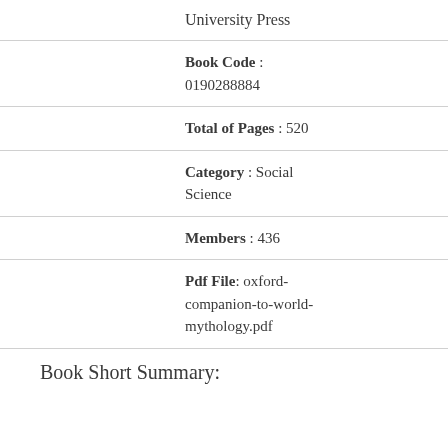University Press
Book Code : 0190288884
Total of Pages : 520
Category : Social Science
Members : 436
Pdf File: oxford-companion-to-world-mythology.pdf
Book Short Summary: